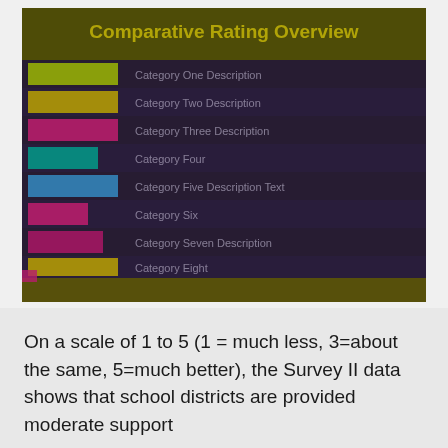[Figure (table-as-image): A blurred table/chart with dark purple background showing rows of colored category labels (yellow-green, yellow, pink, teal, blue, pink, pink, yellow, pink) against dark rows, with a yellow header bar at top reading text about rating/scoring, and a yellow footer bar at bottom. The image is heavily blurred/obscured.]
On a scale of 1 to 5 (1 = much less, 3=about the same, 5=much better), the Survey II data shows that school districts are provided moderate support